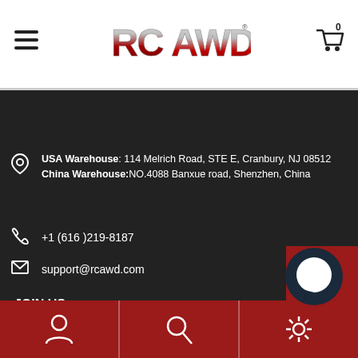[Figure (logo): RCAWD logo in red metallic lettering]
USA Warehouse: 114 Melrich Road, STE E, Cranbury, NJ 08512
China Warehouse:NO.4088 Banxue road, Shenzhen, China
+1 (616 )219-8187
support@rcawd.com
JOIN US: